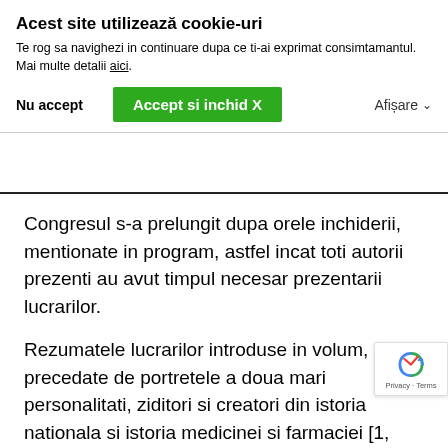Acest site utilizează cookie-uri
Te rog sa navighezi in continuare dupa ce ti-ai exprimat consimtamantul. Mai multe detalii aici.
Nu accept | Accept si inchid X | Afișare
Congresul s-a prelungit dupa orele inchiderii, mentionate in program, astfel incat toti autorii prezenti au avut timpul necesar prezentarii lucrarilor.
Rezumatele lucrarilor introduse in volum, sunt precedate de portretele a doua mari personalitati, ziditori si creatori din istoria nationala si istoria medicinei si farmaciei [1, p.16-17]: Domnitorul Constantin Brancoveanu, Domn al Tarii Romanesti timp de 26 ani (1688-1714) si Carol Davila (1828-1884), co...